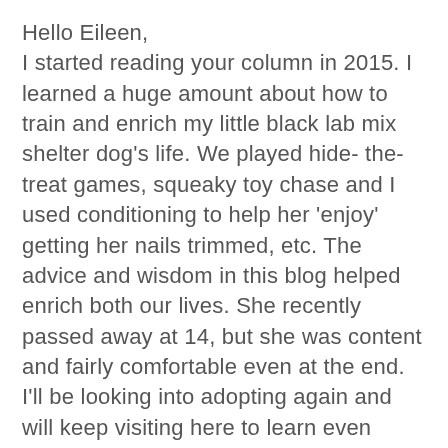Hello Eileen,
I started reading your column in 2015. I learned a huge amount about how to train and enrich my little black lab mix shelter dog's life. We played hide- the-treat games, squeaky toy chase and I used conditioning to help her 'enjoy' getting her nails trimmed, etc. The advice and wisdom in this blog helped enrich both our lives. She recently passed away at 14, but she was content and fairly comfortable even at the end. I'll be looking into adopting again and will keep visiting here to learn even more.
I liked this article about Summer and bearing in mind a dog's comfort zone.